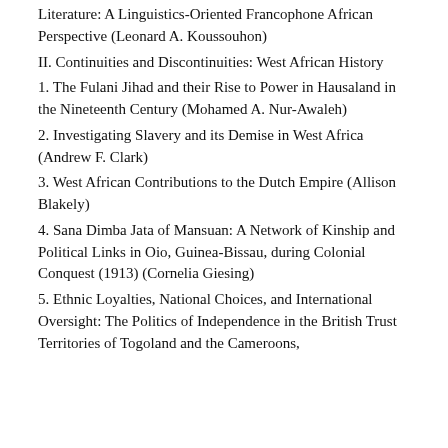Literature: A Linguistics-Oriented Francophone African Perspective (Leonard A. Koussouhon)
II. Continuities and Discontinuities: West African History
1. The Fulani Jihad and their Rise to Power in Hausaland in the Nineteenth Century (Mohamed A. Nur-Awaleh)
2. Investigating Slavery and its Demise in West Africa (Andrew F. Clark)
3. West African Contributions to the Dutch Empire (Allison Blakely)
4. Sana Dimba Jata of Mansuan: A Network of Kinship and Political Links in Oio, Guinea-Bissau, during Colonial Conquest (1913) (Cornelia Giesing)
5. Ethnic Loyalties, National Choices, and International Oversight: The Politics of Independence in the British Trust Territories of Togoland and the Cameroons,